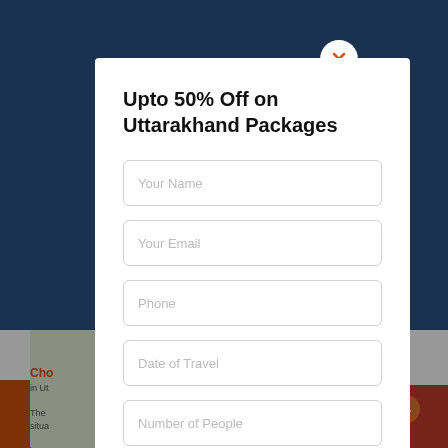[Figure (screenshot): Background showing a travel website with mountain/blue scenery at top, and partial article text below with orange heading 'Cho...' and grey body text about Uttarakhand, plus a small card image and Read More link]
Upto 50% Off on Uttarakhand Packages
Your Name
Your Email
Phone
Date of Travel
Number of People
Message